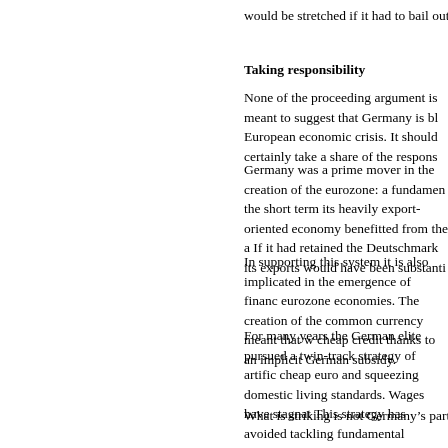would be stretched if it had to bail out substantial economies such as Spa
Taking responsibility
None of the proceeding argument is meant to suggest that Germany is bl European economic crisis. It should certainly take a share of the respons
Germany was a prime mover in the creation of the eurozone: a fundamen the short term its heavily export-oriented economy benefitted from the a If it had retained the Deutschmark its exports would have been substanti
In supporting this system it is also implicated in the emergence of financ eurozone economies. The creation of the common currency meant that w cheap credit thanks to an implicit German subsidy.
For many years the German elite pursued a twin-track strategy of artific cheap euro and squeezing domestic living standards. Wages have stagnat This strategy has avoided tackling fundamental weaknesses in the real e investment to generate a new round of durable growth.
But while it would be wrong to suggest Germany is blameless it is also h culpable for the whole mess. Germany’s leadership has broadly pursued European nations. It has pursued short-termist pragmatic measures rathe chronic weaknesses of its real economy.
What is striking is not Germany’s particular outlook or policies. On the c